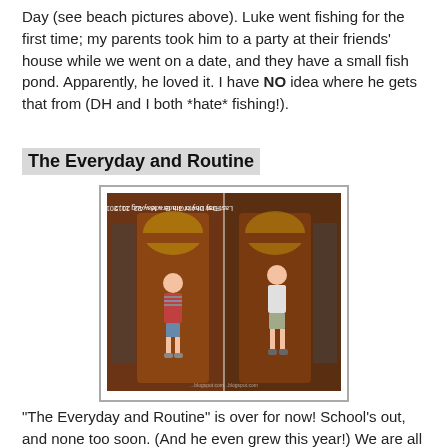Day (see beach pictures above). Luke went fishing for the first time; my parents took him to a party at their friends' house while we went on a date, and they have a small fish pond. Apparently, he loved it. I have NO idea where he gets that from (DH and I both *hate* fishing!).
The Everyday and Routine
[Figure (photo): Side-by-side comparison photos of a boy standing in front of a dark wood front door. Left photo labeled 'First Day of 4th Grade - Aug 11, 2014' and right photo labeled 'Last Day of 4th Grade - May 22, 2015'. The boy is visibly taller in the second photo.]
"The Everyday and Routine" is over for now! School's out, and none too soon. (And he even grew this year!) We are all